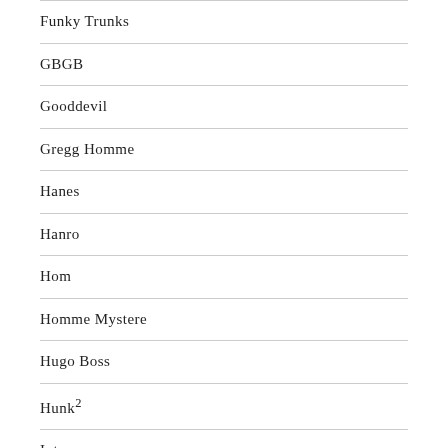Funky Trunks
GBGB
Gooddevil
Gregg Homme
Hanes
Hanro
Hom
Homme Mystere
Hugo Boss
Hunk²
Intymen
Jockey
Jockmail